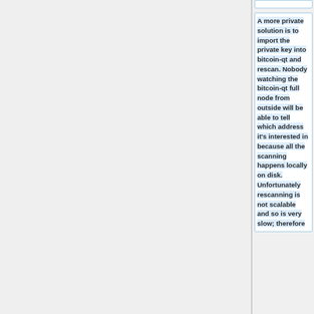A more private solution is to import the private key into bitcoin-qt and rescan. Nobody watching the bitcoin-qt full node from outside will be able to tell which address it's interested in because all the scanning happens locally on disk. Unfortunately rescanning is not scalable and so is very slow; therefore